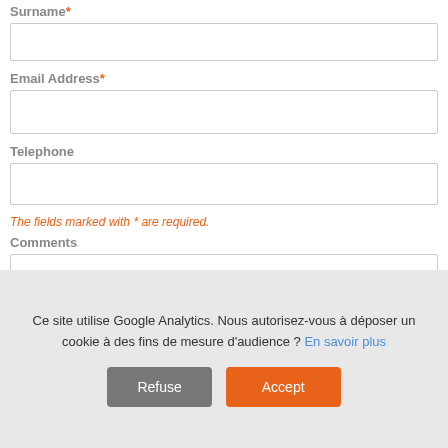Surname*
Email Address*
Telephone
The fields marked with * are required.
Comments
Ce site utilise Google Analytics. Nous autorisez-vous à déposer un cookie à des fins de mesure d'audience ? En savoir plus